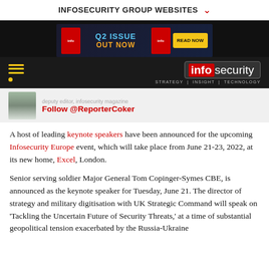INFOSECURITY GROUP WEBSITES
[Figure (screenshot): Advertisement banner for Q2 Issue Out Now with Read Now button]
[Figure (logo): Infosecurity magazine logo with tagline STRATEGY | INSIGHT | TECHNOLOGY]
Follow @ReporterCoker
A host of leading keynote speakers have been announced for the upcoming Infosecurity Europe event, which will take place from June 21-23, 2022, at its new home, Excel, London.
Senior serving soldier Major General Tom Copinger-Symes CBE, is announced as the keynote speaker for Tuesday, June 21. The director of strategy and military digitisation with UK Strategic Command will speak on ‘Tackling the Uncertain Future of Security Threats,’ at a time of substantial geopolitical tension exacerbated by the Russia-Ukraine